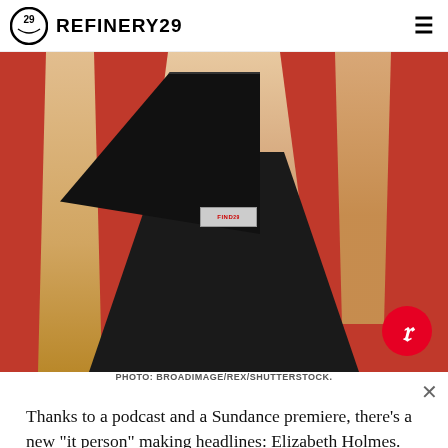REFINERY29
[Figure (photo): Woman with long blonde hair wearing a black one-shoulder dress with a small badge/name tag, photographed against a bright red background. A Pinterest share button appears in the lower right corner of the image.]
PHOTO: BROADIMAGE/REX/SHUTTERSTOCK.
Thanks to a podcast and a Sundance premiere, there's a new "it person" making headlines: Elizabeth Holmes. The...